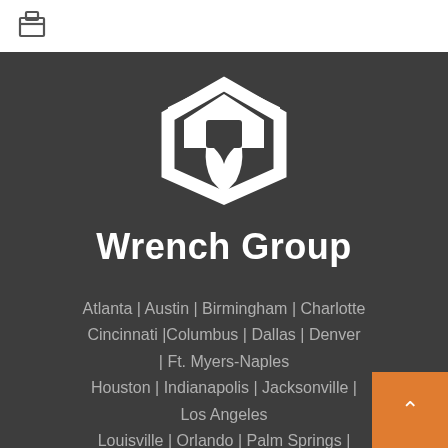[Figure (logo): Wrench Group logo: white house/wrench icon with hexagonal shape on dark background, with brand name 'Wrench Group' below]
Atlanta | Austin | Birmingham | Charlotte
Cincinnati |Columbus | Dallas | Denver | Ft. Myers-Naples
Houston | Indianapolis | Jacksonville | Los Angeles
Louisville | Orlando | Palm Springs | Phoenix